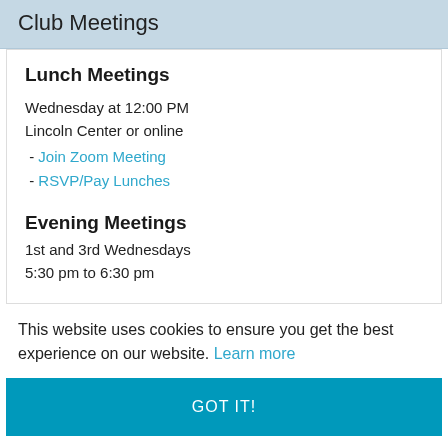Club Meetings
Lunch Meetings
Wednesday at 12:00 PM
Lincoln Center or online
- Join Zoom Meeting
- RSVP/Pay Lunches
Evening Meetings
1st and 3rd Wednesdays
5:30 pm to 6:30 pm
This website uses cookies to ensure you get the best experience on our website. Learn more
GOT IT!